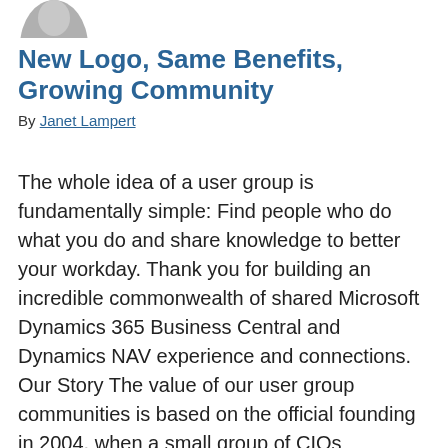[Figure (illustration): Partial circular avatar/profile icon in grey at top left corner of page]
New Logo, Same Benefits, Growing Community
By Janet Lampert
The whole idea of a user group is fundamentally simple: Find people who do what you do and share knowledge to better your workday. Thank you for building an incredible commonwealth of shared Microsoft Dynamics 365 Business Central and Dynamics NAV experience and connections. Our Story The value of our user group communities is based on the official founding in 2004, when a small group of CIOs discovered great benefit in sharing knowledge and experiences about their ongoing system and business …